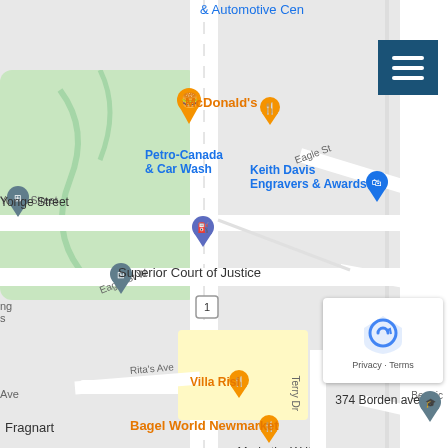[Figure (map): Google Maps screenshot showing area around Yonge Street and Eagle Street in Newmarket, Ontario. Shows Superior Court of Justice, McDonald's, Petro-Canada & Car Wash, Keith Davis Engravers & Awards, Villa Risi, Bagel World Newmarket, Church's Texas Chicken 16925 Yonge St Ontario, PetSmart, Fragnart, MarketingWrite, AMG MATH, St Paul Cath, 374 Borden ave. Roads include Eagle St W, Eagle St, Don Mor Dr, Terry Dr, Rita's Ave, Beswic. Navigation menu button top right. reCAPTCHA and Privacy-Terms box bottom right.]